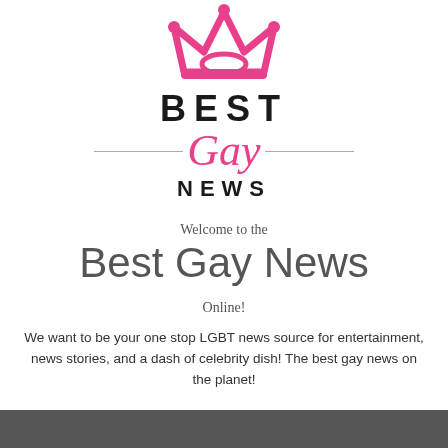[Figure (logo): Pink crown SVG logo above the Best Gay News text logo]
BEST Gay NEWS
Welcome to the
Best Gay News
Online!
We want to be your one stop LGBT news source for entertainment, news stories, and a dash of celebrity dish! The best gay news on the planet!
[Figure (photo): Partial image strip visible at the bottom of the page, dark colored]